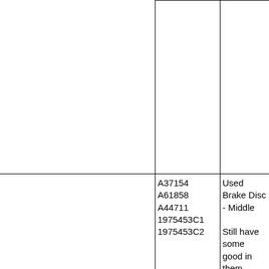|  |  |  |
| --- | --- | --- |
|  |  |  |
|  | A37154
A61858
A44711
1975453C1
1975453C2 | Used Brake Disc - Middle

Still have some good in them

Available in Type A or Type B - See Picture |